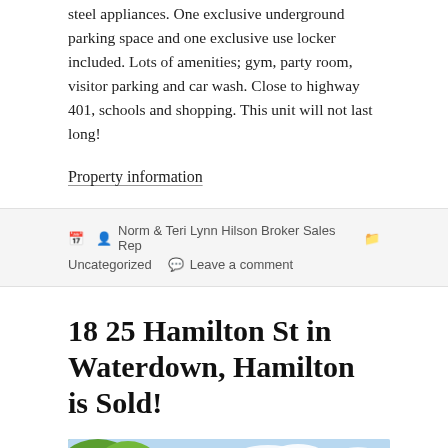steel appliances. One exclusive underground parking space and one exclusive use locker included. Lots of amenities; gym, party room, visitor parking and car wash. Close to highway 401, schools and shopping. This unit will not last long!
Property information
Norm & Teri Lynn Hilson Broker Sales Rep   Uncategorized   Leave a comment
18 25 Hamilton St in Waterdown, Hamilton is Sold!
[Figure (photo): Exterior photo of a house with green trees and blue sky, showing a roofline with a distinctive diamond/chevron shape element]